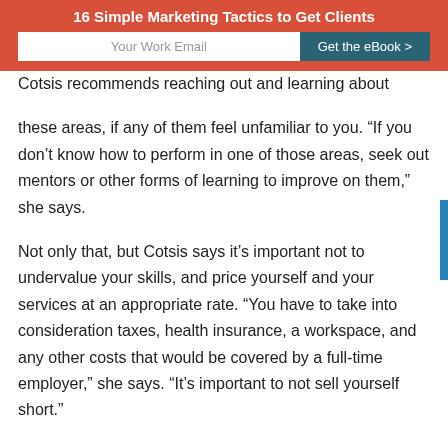16 Simple Marketing Tactics to Get Clients
Cotsis recommends reaching out and learning about these areas, if any of them feel unfamiliar to you. “If you don’t know how to perform in one of those areas, seek out mentors or other forms of learning to improve on them,” she says.
Not only that, but Cotsis says it’s important not to undervalue your skills, and price yourself and your services at an appropriate rate. “You have to take into consideration taxes, health insurance, a workspace, and any other costs that would be covered by a full-time employer,” she says. “It’s important to not sell yourself short.”